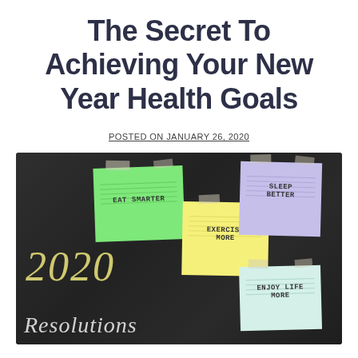The Secret To Achieving Your New Year Health Goals
POSTED ON JANUARY 26, 2020
[Figure (photo): Chalkboard with sticky notes reading 'Eat Smarter', 'Exercise More', 'Sleep Better', 'Enjoy Life More', and chalk writing '2020 Resolutions']